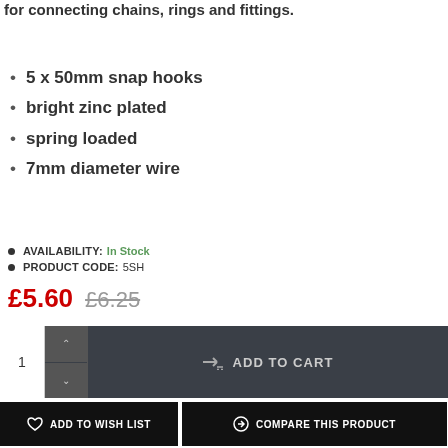for connecting chains, rings and fittings.
5 x 50mm snap hooks
bright zinc plated
spring loaded
7mm diameter wire
AVAILABILITY: In Stock
PRODUCT CODE: 5SH
£5.60  £6.25
1  ADD TO CART
ADD TO WISH LIST
COMPARE THIS PRODUCT